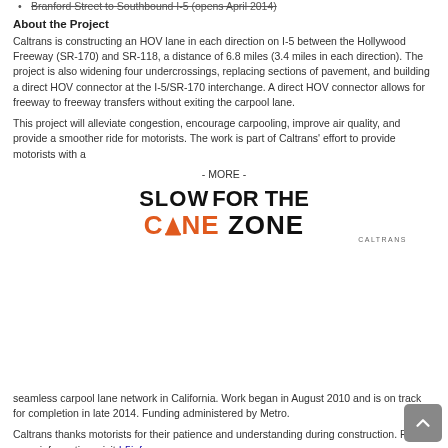Branford Street to Southbound I-5 (opens April 2014)
About the Project
Caltrans is constructing an HOV lane in each direction on I-5 between the Hollywood Freeway (SR-170) and SR-118, a distance of 6.8 miles (3.4 miles in each direction). The project is also widening four undercrossings, replacing sections of pavement, and building a direct HOV connector at the I-5/SR-170 interchange. A direct HOV connector allows for freeway to freeway transfers without exiting the carpool lane.
This project will alleviate congestion, encourage carpooling, improve air quality, and provide a smoother ride for motorists. The work is part of Caltrans' effort to provide motorists with a
- MORE -
[Figure (logo): Slow for the Cone Zone logo — Caltrans safety campaign logo with orange cone icon in the word CONE]
seamless carpool lane network in California. Work began in August 2010 and is on track for completion in late 2014. Funding administered by Metro.
Caltrans thanks motorists for their patience and understanding during construction. For more information, visit I-5info.com.
* * *